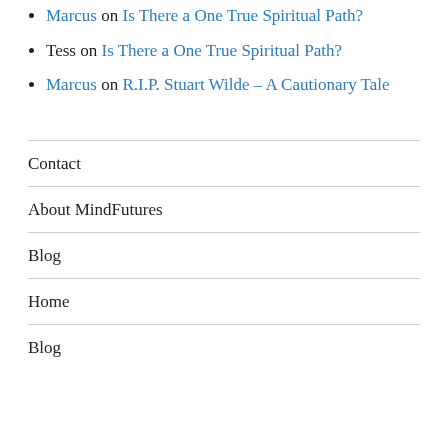Marcus on Is There a One True Spiritual Path?
Tess on Is There a One True Spiritual Path?
Marcus on R.I.P. Stuart Wilde – A Cautionary Tale
Contact
About MindFutures
Blog
Home
Blog